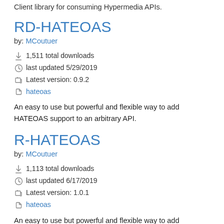Client library for consuming Hypermedia APIs.
RD-HATEOAS
by: MCoutuer
1,511 total downloads
last updated 5/29/2019
Latest version: 0.9.2
hateoas
An easy to use but powerful and flexible way to add HATEOAS support to an arbitrary API.
R-HATEOAS
by: MCoutuer
1,113 total downloads
last updated 6/17/2019
Latest version: 1.0.1
hateoas
An easy to use but powerful and flexible way to add HATEOAS support to an arbitrary API.